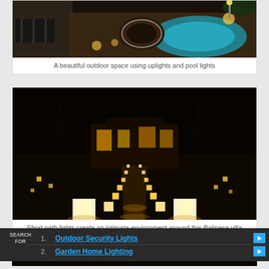[Figure (photo): Nighttime outdoor patio with uplights and pool lights, showing brick patio area with chairs, circular spa/hot tub, and glowing blue swimming pool]
A beautiful outdoor space using uplights and pool lights
[Figure (photo): Nighttime Balinese villa with short path lights creating an intimate environment. A long illuminated pathway leads to the villa entrance, flanked by glowing white cube path lights on dark grass.]
Short path lights create an intimate environment around this Balinese villa
[Figure (photo): Partial nighttime outdoor scene, dark background]
1. Outdoor Security Lights
2. Garden Home Lighting